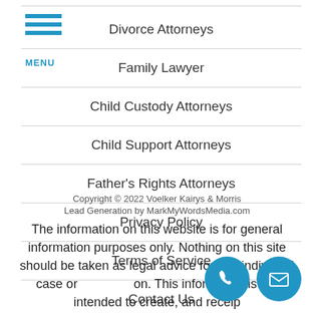[Figure (other): Hamburger menu icon with three blue horizontal bars and MENU label below]
Divorce Attorneys
Family Lawyer
Child Custody Attorneys
Child Support Attorneys
Father's Rights Attorneys
Privacy Policy
Terms of Service
Contact Us
Copyright © 2022 Voelker Kairys & Morris
Lead Generation by MarkMyWordsMedia.com
The information on this website is for general information purposes only. Nothing on this site should be taken as legal advice for any individual case or situation. This information is not intended to create, and receipt